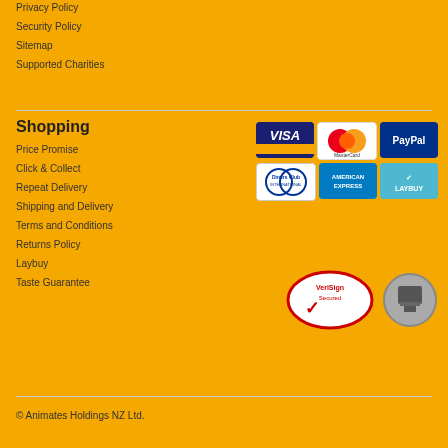Privacy Policy
Security Policy
Sitemap
Supported Charities
Shopping
Price Promise
Click & Collect
Repeat Delivery
Shipping and Delivery
Terms and Conditions
Returns Policy
Laybuy
Taste Guarantee
[Figure (logo): Payment method logos: Visa, MasterCard, PayPal, Diners Club International, American Express, Laybuy]
[Figure (logo): VeriSign Secured logo and another security badge]
© Animates Holdings NZ Ltd.